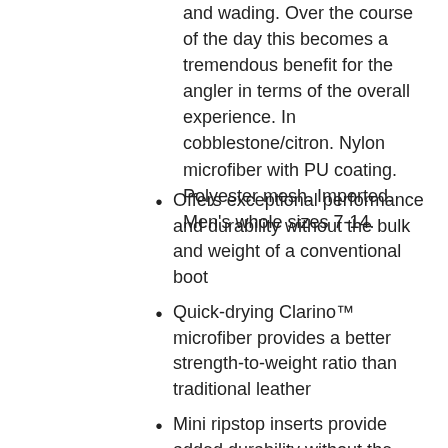and wading. Over the course of the day this becomes a tremendous benefit for the angler in terms of the overall experience. In cobblestone/citron. Nylon microfiber with PU coating. Polyester mesh. Imported. Men's whole sizes 7-14.
Offers exceptional performance and durability without the bulk and weight of a conventional boot
Quick-drying Clarino™ microfiber provides a better strength-to-weight ratio than traditional leather
Mini ripstop inserts provide added durability without the weight
Abrasion-resistant rubber spray adds an additional layer of protection in high wear zones
Tightly woven laces improve abrasion resistance
Custom Vibram® EVA midsole for all-day comfort